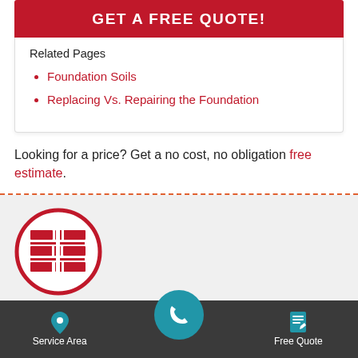[Figure (other): Red CTA banner button with white text reading GET A FREE QUOTE!]
Related Pages
Foundation Soils
Replacing Vs. Repairing the Foundation
Looking for a price? Get a no cost, no obligation free estimate.
[Figure (logo): Foundation Repair company logo: red circle with white brick pattern inside]
FOUNDATION REPAIR
Service Area   [phone]   Free Quote